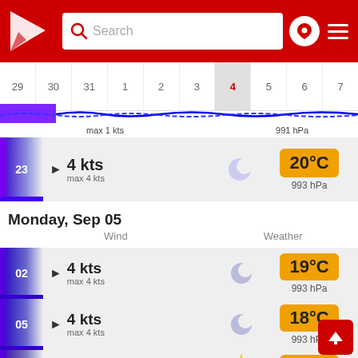[Figure (screenshot): App header with red background, logo (white arrow/wind icon), search bar, location pin icon, hamburger menu]
| 29 | 30 | 31 | 1 | 2 | 3 | 4 | 5 | 6 | 7 |
| --- | --- | --- | --- | --- | --- | --- | --- | --- | --- |
max 1 kts    991 hPa
23  ▶  4 kts  max 4 kts   [crescent moon]   20°C  993 hPa
Monday, Sep 05
Wind    Weather
02  ▶  4 kts  max 4 kts   [crescent moon]   19°C  993 hPa
05  ▶  4 kts  max 4 kts   [crescent moon]   18°C  993 hPa
08  ▶  3 kts   [sun]   19°C